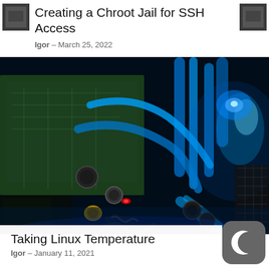[Figure (photo): Small thumbnail image top left, dark tones]
Creating a Chroot Jail for SSH Access
[Figure (photo): Small thumbnail image top right, dark tones]
Igor – March 25, 2022
[Figure (photo): Large photo of a PC interior with water cooling tubes and blue LED lighting, showing motherboard and cooling hardware]
Taking Linux Temperature
Igor – January 11, 2021
[Figure (logo): Dark gray circular icon with white crescent moon symbol]